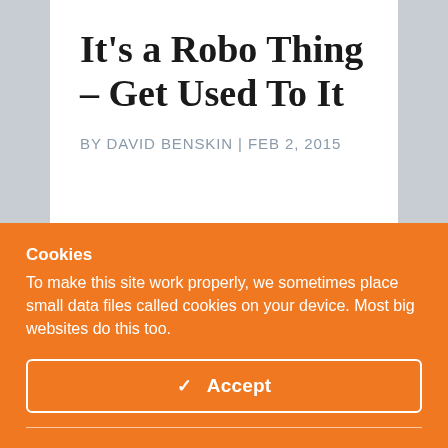It’s a Robo Thing – Get Used To It
BY DAVID BENSKIN | FEB 2, 2015
Cookies
To make this site work properly, we sometimes place small data files called cookies on your device. Most big websites do this too.
✓ Accept